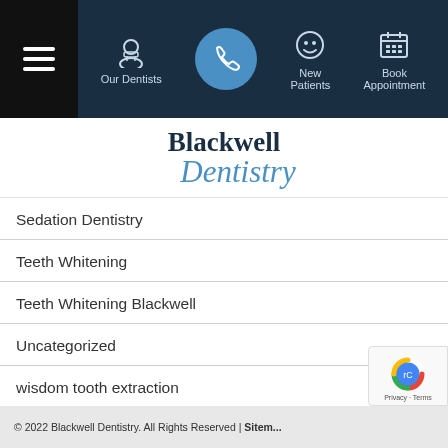Navigation bar with hamburger menu, Our Dentists, phone button, New Patients, Book Appointment
[Figure (logo): Blackwell Dentistry logo with serif bold 'Blackwell' in dark navy and italic 'Dentistry' in blue]
Sedation Dentistry
Teeth Whitening
Teeth Whitening Blackwell
Uncategorized
wisdom tooth extraction
© 2022 Blackwell Dentistry. All Rights Reserved | Sitem...